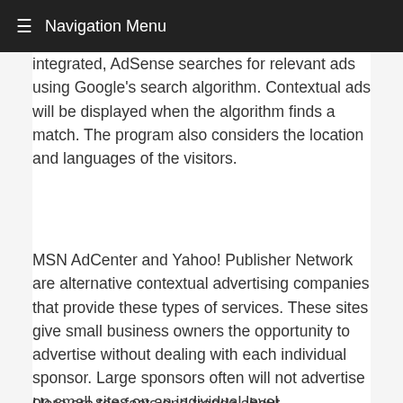≡  Navigation Menu
integrated, AdSense searches for relevant ads using Google's search algorithm. Contextual ads will be displayed when the algorithm finds a match. The program also considers the location and languages of the visitors.
MSN AdCenter and Yahoo! Publisher Network are alternative contextual advertising companies that provide these types of services. These sites give small business owners the opportunity to advertise without dealing with each individual sponsor. Large sponsors often will not advertise on small sites on an individual level.
Here are ten facts and trends about